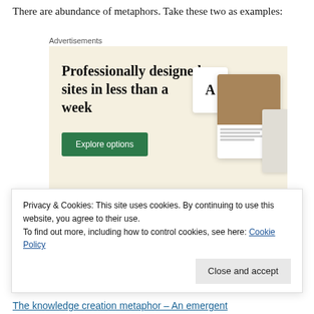There are abundance of metaphors. Take these two as examples:
[Figure (screenshot): Advertisement banner labeled 'Advertisements' with beige background showing text 'Professionally designed sites in less than a week', a green 'Explore options' button, and mockup screenshots of websites]
Privacy & Cookies: This site uses cookies. By continuing to use this website, you agree to their use.
To find out more, including how to control cookies, see here: Cookie Policy
The knowledge creation metaphor – An emergent